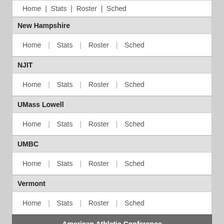Home | Stats | Roster | Sched
New Hampshire
Home | Stats | Roster | Sched
NJIT
Home | Stats | Roster | Sched
UMass Lowell
Home | Stats | Roster | Sched
UMBC
Home | Stats | Roster | Sched
Vermont
Home | Stats | Roster | Sched
American Athletic Conference
Cincinnati